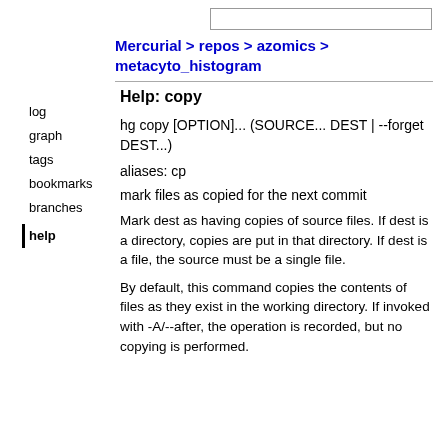Mercurial > repos > azomics > metacyto_histogram
Help: copy
log
graph
tags
bookmarks
branches
help
hg copy [OPTION]... (SOURCE... DEST | --forget DEST...)
aliases: cp
mark files as copied for the next commit
Mark dest as having copies of source files. If dest is a directory, copies are put in that directory. If dest is a file, the source must be a single file.
By default, this command copies the contents of files as they exist in the working directory. If invoked with -A/--after, the operation is recorded, but no copying is performed.